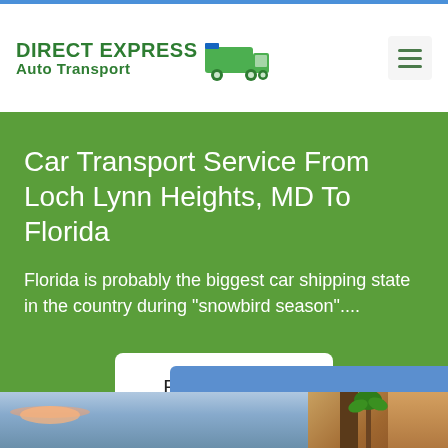[Figure (logo): Direct Express Auto Transport logo with green truck icon and green text]
Car Transport Service From Loch Lynn Heights, MD To Florida
Florida is probably the biggest car shipping state in the country during "snowbird season"....
Read More →
Ready to Quote
[Figure (photo): Bottom photo strip showing blue sky with clouds on left and palm trees with building on right]